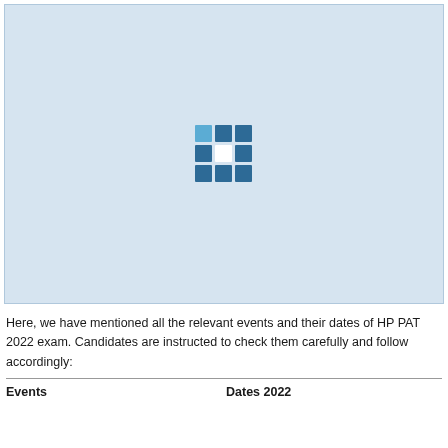[Figure (logo): Light blue rectangular image area with a small square grid logo (blue/dark blue tiles arranged in a 3x3 pattern with white center) centered in it.]
Here, we have mentioned all the relevant events and their dates of HP PAT 2022 exam. Candidates are instructed to check them carefully and follow accordingly:
| Events | Dates 2022 |
| --- | --- |